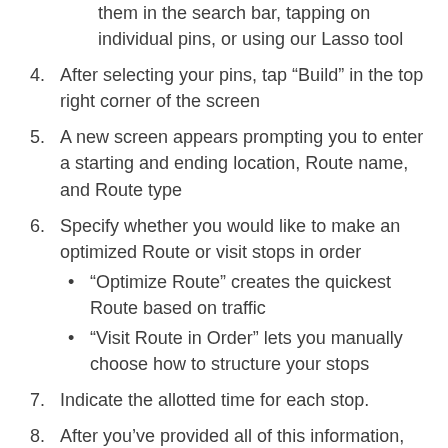them in the search bar, tapping on individual pins, or using our Lasso tool
4. After selecting your pins, tap “Build” in the top right corner of the screen
5. A new screen appears prompting you to enter a starting and ending location, Route name, and Route type
6. Specify whether you would like to make an optimized Route or visit stops in order
“Optimize Route” creates the quickest Route based on traffic
“Visit Route in Order” lets you manually choose how to structure your stops
7. Indicate the allotted time for each stop.
8. After you’ve provided all of this information, tap “Build Route”
The quickest way to add pins to a Route is by using our Lasso tool to mass-add pins.